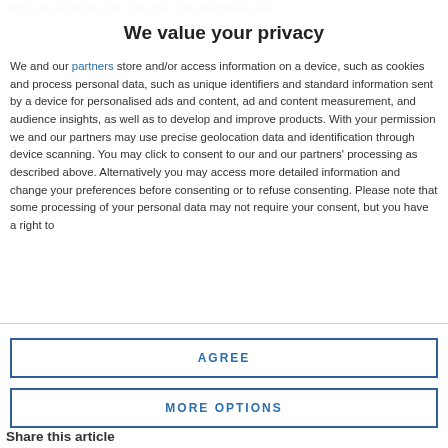might not sound like a lot. Only four of his teammates also
We value your privacy
We and our partners store and/or access information on a device, such as cookies and process personal data, such as unique identifiers and standard information sent by a device for personalised ads and content, ad and content measurement, and audience insights, as well as to develop and improve products. With your permission we and our partners may use precise geolocation data and identification through device scanning. You may click to consent to our and our partners' processing as described above. Alternatively you may access more detailed information and change your preferences before consenting or to refuse consenting. Please note that some processing of your personal data may not require your consent, but you have a right to
AGREE
MORE OPTIONS
Share this article